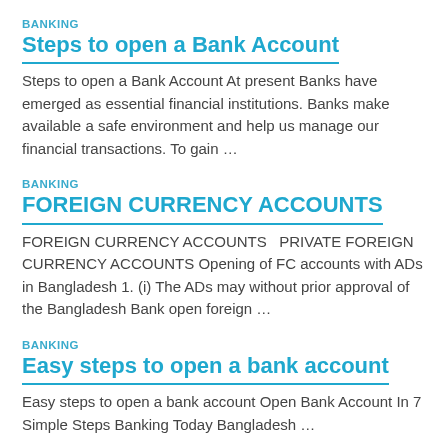BANKING
Steps to open a Bank Account
Steps to open a Bank Account At present Banks have emerged as essential financial institutions. Banks make available a safe environment and help us manage our financial transactions. To gain …
BANKING
FOREIGN CURRENCY ACCOUNTS
FOREIGN CURRENCY ACCOUNTS   PRIVATE FOREIGN CURRENCY ACCOUNTS Opening of FC accounts with ADs in Bangladesh 1. (i) The ADs may without prior approval of the Bangladesh Bank open foreign …
BANKING
Easy steps to open a bank account
Easy steps to open a bank account Open Bank Account In 7 Simple Steps Banking Today Bangladesh …